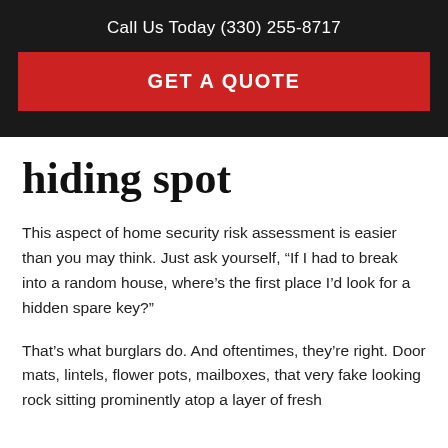Call Us Today (330) 255-8717
GET A QUOTE
hiding spot
This aspect of home security risk assessment is easier than you may think. Just ask yourself, “If I had to break into a random house, where’s the first place I’d look for a hidden spare key?”
That’s what burglars do. And oftentimes, they’re right. Door mats, lintels, flower pots, mailboxes, that very fake looking rock sitting prominently atop a layer of fresh